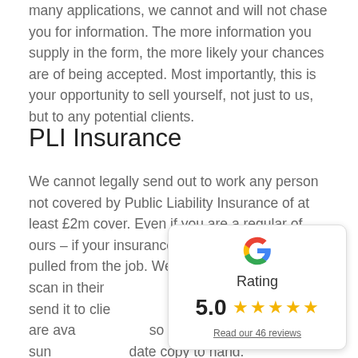many applications, we cannot and will not chase you for information. The more information you supply in the form, the more likely your chances are of being accepted. Most importantly, this is your opportunity to sell yourself, not just to us, but to any potential clients.
PLI Insurance
We cannot legally send out to work any person not covered by Public Liability Insurance of at least £2m cover. Even if you are a regular of ours – if your insurance has expired, you will be pulled from the job. We request that all DJs scan in their [insurance and send to] us so that we can send it to clie[nts who have a right] to it. Copies of your PLI are ava[ilable from your insurer] so you should always make sun[e you have an up to] date copy to hand.
[Figure (infographic): Google rating widget showing 5.0 stars and a link to read 46 reviews]